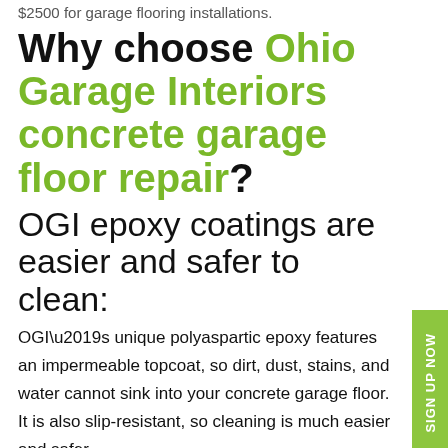$2500 for garage flooring installations.
Why choose Ohio Garage Interiors concrete garage floor repair?
OGI epoxy coatings are easier and safer to clean:
OGI’s unique polyaspartic epoxy features an impermeable topcoat, so dirt, dust, stains, and water cannot sink into your concrete garage floor. It is also slip-resistant, so cleaning is much easier and safer.
SIGN UP NOW